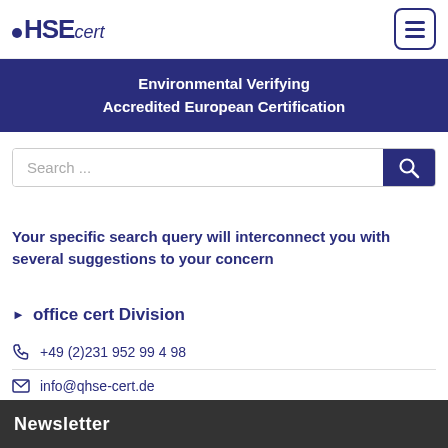OHSE cert
Environmental Verifying
Accredited European Certification
Search ...
Your specific search query will interconnect you with several suggestions to your concern
office cert Division
+49 (2)231 952 99 4 98
info@qhse-cert.de
Newsletter